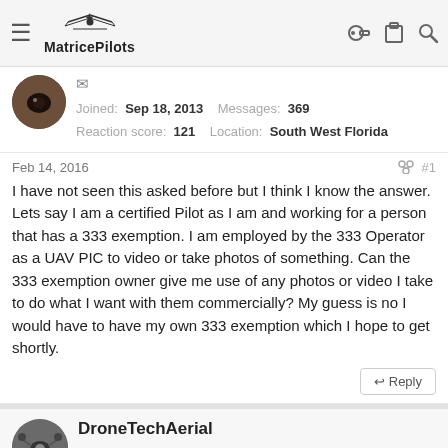MatricePilots
Joined: Sep 18, 2013  Messages: 369  Reaction score: 121  Location: South West Florida
Feb 14, 2016  #1
I have not seen this asked before but I think I know the answer. Lets say I am a certified Pilot as I am and working for a person that has a 333 exemption. I am employed by the 333 Operator as a UAV PIC to video or take photos of something. Can the 333 exemption owner give me use of any photos or video I take to do what I want with them commercially? My guess is no I would have to have my own 333 exemption which I hope to get shortly.
DroneTechAerial
Joined: Sep 26, 2015  Messages: 66  Reaction score: 21  Age: 37  Location: Malibu, CA